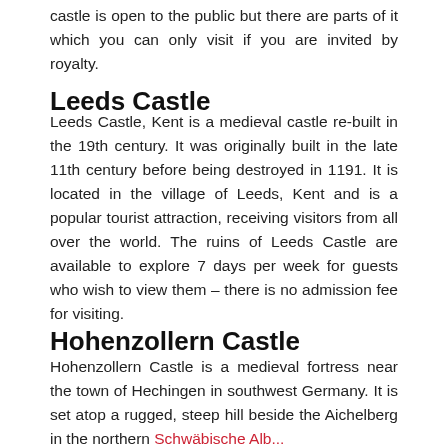castle is open to the public but there are parts of it which you can only visit if you are invited by royalty.
Leeds Castle
Leeds Castle, Kent is a medieval castle re-built in the 19th century. It was originally built in the late 11th century before being destroyed in 1191. It is located in the village of Leeds, Kent and is a popular tourist attraction, receiving visitors from all over the world. The ruins of Leeds Castle are available to explore 7 days per week for guests who wish to view them – there is no admission fee for visiting.
Hohenzollern Castle
Hohenzollern Castle is a medieval fortress near the town of Hechingen in southwest Germany. It is set atop a rugged, steep hill beside the Aichelberg in the northern Schwäbische Alb...